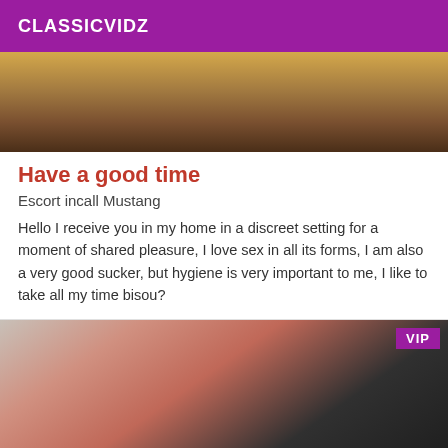CLASSICVIDZ
[Figure (photo): Top cropped photo showing legs and yellow background]
Have a good time
Escort incall Mustang
Hello I receive you in my home in a discreet setting for a moment of shared pleasure, I love sex in all its forms, I am also a very good sucker, but hygiene is very important to me, I like to take all my time bisou?
[Figure (photo): Bottom photo of person in pink top and black outfit lying down, with VIP badge in top right corner]